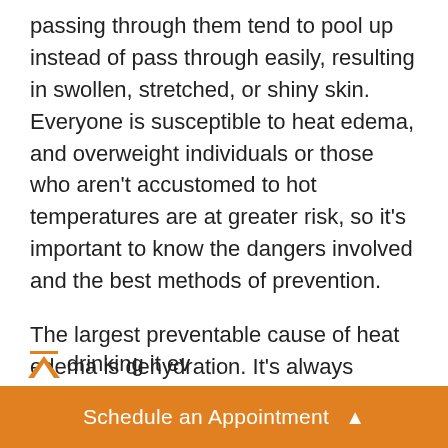passing through them tend to pool up instead of pass through easily, resulting in swollen, stretched, or shiny skin. Everyone is susceptible to heat edema, and overweight individuals or those who aren't accustomed to hot temperatures are at greater risk, so it's important to know the dangers involved and the best methods of prevention.
The largest preventable cause of heat edema is dehydration. It's always important to drink at least 64 ounces of water a day, and it's a good idea to drink even more in the heat. Carry a reusable water bottle with you on hot days and try drinking it ev...